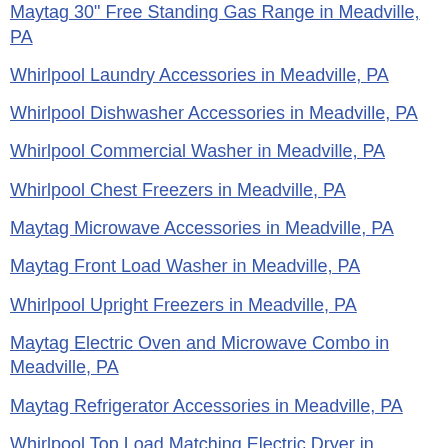KitchenAid Laundry Accessories in Meadville, PA
Maytag 30" Free Standing Gas Range in Meadville, PA
Whirlpool Laundry Accessories in Meadville, PA
Whirlpool Dishwasher Accessories in Meadville, PA
Whirlpool Commercial Washer in Meadville, PA
Whirlpool Chest Freezers in Meadville, PA
Maytag Microwave Accessories in Meadville, PA
Maytag Front Load Washer in Meadville, PA
Whirlpool Upright Freezers in Meadville, PA
Maytag Electric Oven and Microwave Combo in Meadville, PA
Maytag Refrigerator Accessories in Meadville, PA
Whirlpool Top Load Matching Electric Dryer in Meadville, PA